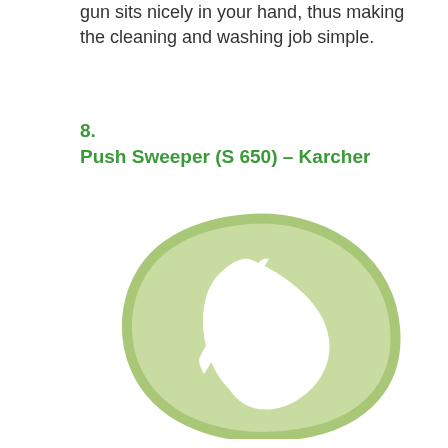gun sits nicely in your hand, thus making the cleaning and washing job simple.
8.
Push Sweeper (S 650) – Karcher
[Figure (illustration): A light green leaf or pebble-shaped decorative illustration with a white cutout shape inside, resembling a stylized leaf or shield. The shape has an organic, irregular outline in pale green with a darker green border/stroke.]